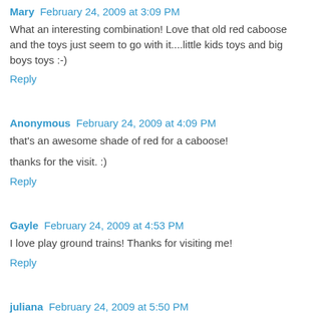Mary  February 24, 2009 at 3:09 PM
What an interesting combination! Love that old red caboose and the toys just seem to go with it....little kids toys and big boys toys :-)
Reply
Anonymous  February 24, 2009 at 4:09 PM
that's an awesome shade of red for a caboose!
thanks for the visit. :)
Reply
Gayle  February 24, 2009 at 4:53 PM
I love play ground trains! Thanks for visiting me!
Reply
juliana  February 24, 2009 at 5:50 PM